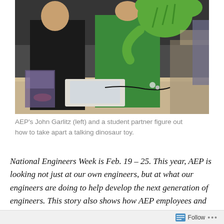[Figure (photo): AEP's John Garlitz (left) wearing a black shirt and a student partner in a green shirt holding up a green stuffed dinosaur toy, working at a table in a classroom/lab setting with various materials and other people in the background.]
AEP's John Garlitz (left) and a student partner figure out how to take apart a talking dinosaur toy.
National Engineers Week is Feb. 19 – 25. This year, AEP is looking not just at our own engineers, but at what our engineers are doing to help develop the next generation of engineers. This story also shows how AEP employees and students are helping children with special needs.
The sounds of conversation and laughter at Smith Laboratory at The Ohio State University mingled with